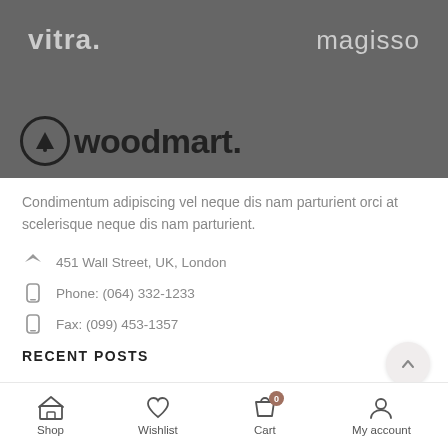[Figure (logo): Dark grey banner with 'vitra.' and 'magisso' brand logos, and WoodMart logo at the bottom]
Condimentum adipiscing vel neque dis nam parturient orci at scelerisque neque dis nam parturient.
451 Wall Street, UK, London
Phone: (064) 332-1233
Fax: (099) 453-1357
RECENT POSTS
Shop | Wishlist | Cart | My account